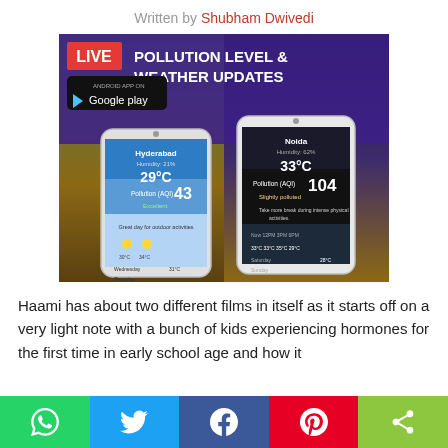Written by Shubham Dwivedi
[Figure (screenshot): Promotional banner for a mobile app showing 'LIVE POLLUTION LEVEL & WEATHER UPDATES' with two smartphone screens showing weather data for Hyderabad (29°C, Pollution AQI 43 Excellent) and Noida (33°C, Pollution AQI 104 Slightly polluted). Includes Google Play badge.]
Haami has about two different films in itself as it starts off on a very light note with a bunch of kids experiencing hormones for the first time in early school age and how it